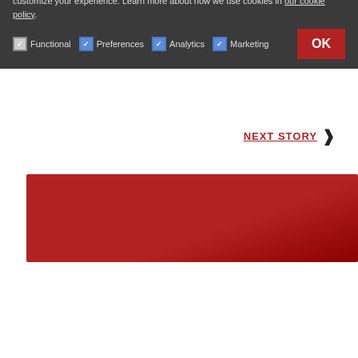continue serving people with disabilities in the community.
To learn more about the project or how you can donate, visit www.servicesource.org/do-more-at-ellmore
NEXT STORY ›
[Figure (photo): Dark red banner/image area]
This Site Uses Cookies
This site, like many others, uses small files called cookies to help us improve and customize your experience. Learn more about how we use cookies in our cookie policy.
Functional  Preferences  Analytics  Marketing  OK